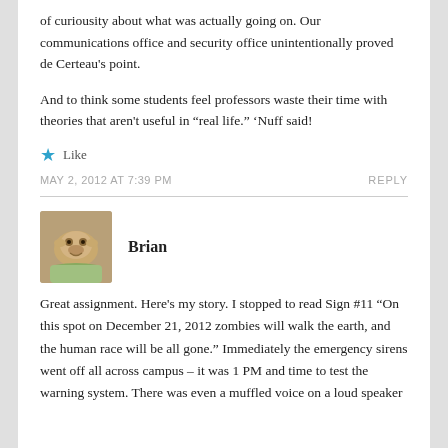of curiousity about what was actually going on. Our communications office and security office unintentionally proved de Certeau's point.
And to think some students feel professors waste their time with theories that aren't useful in “real life.” ‘Nuff said!
★ Like
MAY 2, 2012 AT 7:39 PM
REPLY
Brian
Great assignment. Here’s my story. I stopped to read Sign #11 “On this spot on December 21, 2012 zombies will walk the earth, and the human race will be all gone.” Immediately the emergency sirens went off all across campus – it was 1 PM and time to test the warning system. There was even a muffled voice on a loud speaker